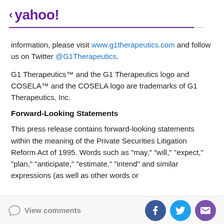< yahoo!
information, please visit www.g1therapeutics.com and follow us on Twitter @G1Therapeutics.
G1 Therapeutics™ and the G1 Therapeutics logo and COSELA™ and the COSELA logo are trademarks of G1 Therapeutics, Inc.
Forward-Looking Statements
This press release contains forward-looking statements within the meaning of the Private Securities Litigation Reform Act of 1995. Words such as "may," "will," "expect," "plan," "anticipate," "estimate," "intend" and similar expressions (as well as other words or
View comments